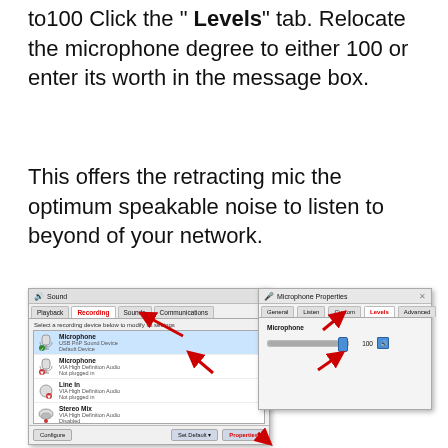to100 Click the " Levels" tab. Relocate the microphone degree to either 100 or enter its worth in the message box.
This offers the retracting mic the optimum speakable noise to listen to beyond of your network.
[Figure (screenshot): Windows Sound dialog showing Recording tab with Microphone (USB PnP Sound Device, Default Device) selected, and Microphone Properties dialog showing Levels tab with Microphone slider set to 100. Red arrows point to the Recording tab, Properties button, Microphone device, and Levels tab and slider value.]